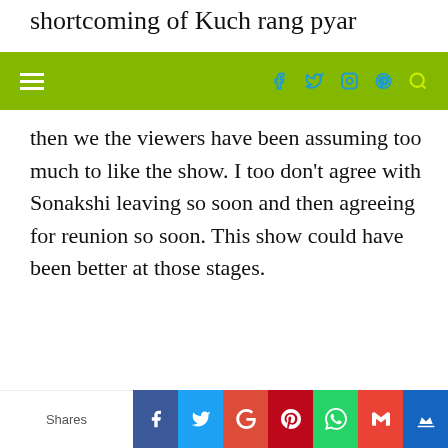shortcoming of Kuch rang pyar
then we the viewers have been assuming too much to like the show. I too don't agree with Sonakshi leaving so soon and then agreeing for reunion so soon. This show could have been better at those stages.
RHEA SINHA
October 15, 2016 at 2:34 pm
Thank you Shruti! Glad someone feels the same. Now they are showing